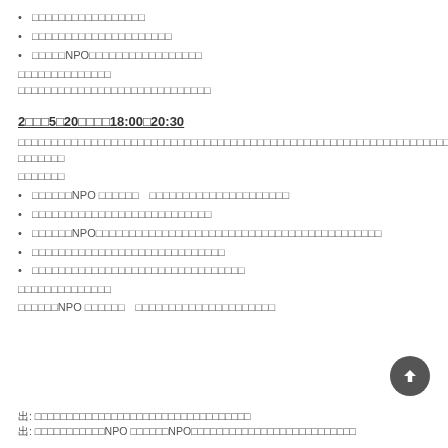□□□□□□□□□□□□□□□□□
□□□□□□□□□□□□□□□□□□□□□
□□□□□NPO□□□□□□□□□□□□□□□□□
□□□□□□□□□□□□□□
□□□□□□□□□□□□□□□□□□□□□□□□□□□□□
2□□□5□20□□□□18:00□20:30
□□□□□□□□□□□□□□□□□□□□□□□□□□□□□□□□□□□□□□□□□□□□□□□□□□□□□□□□□□□□□□□□□□□□□□
□□□□□□□
□□□□□□□
□□□□□□NPO □□□□□□　□□□□□□□□□□□□□□□□□□□□□
□□□□□□□□□□□□□□□□□□□□□□□□□□□
□□□□□□NPO□□□□□□□□□□□□□□□□□□□□□□□□□□□□□□□□□□□□□□□□□□□
□□□□□□□□□□□□□□□□□□□□□□□□□□□□□
□□□□□□□□□□□□□□□□□□□□□□□□□□□□□□□□
□□□□□□□□□□□□□□
□□□□□□NPO □□□□□□　□□□□□□□□□□□□□□□□□□□□□
出: □□□□□□□□□□□□□□□□□□□□□□□□□□□□□□□□□□
出: □□□□□□□□□□□NPO □□□□□□NPO□□□□□□□□□□□□□□□□□□□□□□□□□□